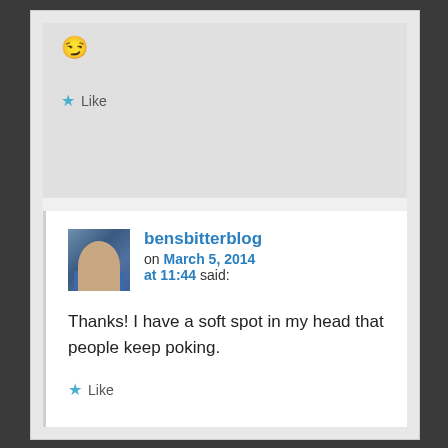😏
★ Like
bensbitterblog on March 5, 2014 at 11:44 said:
Thanks! I have a soft spot in my head that people keep poking.
★ Like